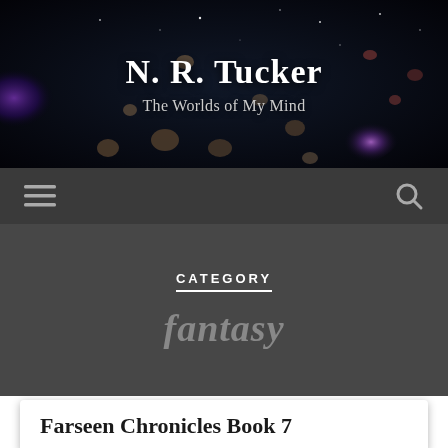[Figure (illustration): Dark space-themed banner with galaxies, asteroids, and nebulae in deep blues and purples]
N. R. Tucker
The Worlds of My Mind
[Figure (infographic): Dark navigation bar with hamburger menu icon on left and search icon on right]
CATEGORY
fantasy
Farseen Chronicles Book 7